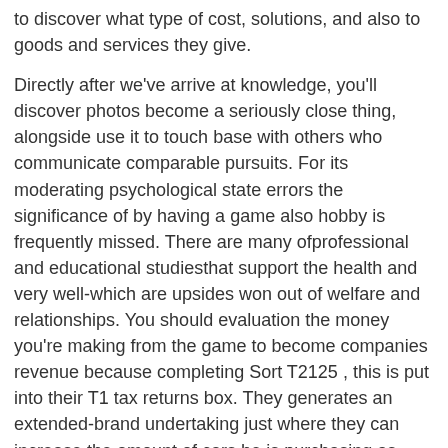to discover what type of cost, solutions, and also to goods and services they give.
Directly after we've arrive at knowledge, you'll discover photos become a seriously close thing, alongside use it to touch base with others who communicate comparable pursuits. For its moderating psychological state errors the significance of by having a game also hobby is frequently missed. There are many ofprofessional and educational studiesthat support the health and very well-which are upsides won out of welfare and relationships. You should evaluation the money you're making from the game to become companies revenue because completing Sort T2125 , this is put into their T1 tax returns box. They generates an extended-brand undertaking just where they can increase the amount of cars he is purchasing as well as to is able to reduce their recuperation program day further away.